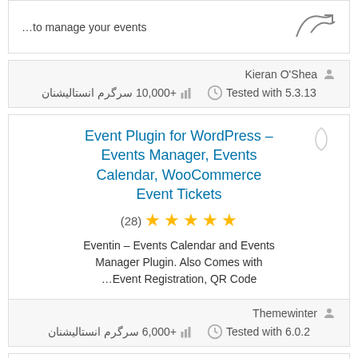…to manage your events
Kieran O'Shea
Tested with 5.3.13   +10,000 سرگرم انستالیشنان
Event Plugin for WordPress – Events Manager, Events Calendar, WooCommerce Event Tickets
(28) ★★★★★
Eventin – Events Calendar and Events Manager Plugin. Also Comes with …Event Registration, QR Code
Themewinter
Tested with 6.0.2   +6,000 سرگرم انستالیشنان
Events Addon for Elementor